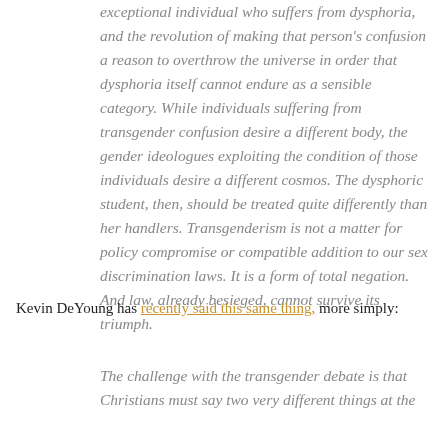exceptional individual who suffers from dysphoria, and the revolution of making that person's confusion a reason to overthrow the universe in order that dysphoria itself cannot endure as a sensible category. While individuals suffering from transgender confusion desire a different body, the gender ideologues exploiting the condition of those individuals desire a different cosmos. The dysphoric student, then, should be treated quite differently than her handlers. Transgenderism is not a matter for policy compromise or compatible addition to our sex discrimination laws. It is a form of total negation. And law, already besieged, cannot survive its triumph.
Kevin DeYoung has recently said this same thing, more simply:
The challenge with the transgender debate is that Christians must say two very different things at the